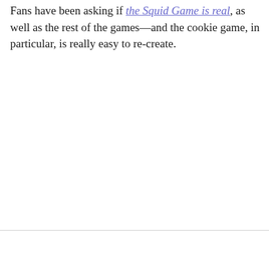Fans have been asking if the Squid Game is real, as well as the rest of the games—and the cookie game, in particular, is really easy to re-create.